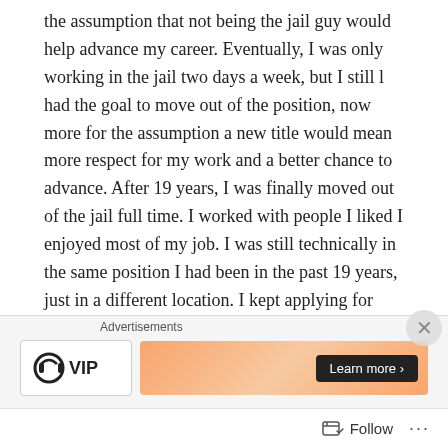the assumption that not being the jail guy would help advance my career. Eventually, I was only working in the jail two days a week, but I still l had the goal to move out of the position, now more for the assumption a new title would mean more respect for my work and a better chance to advance. After 19 years, I was finally moved out of the jail full time. I worked with people I liked I enjoyed most of my job. I was still technically in the same position I had been in the past 19 years, just in a different location. I kept applying for promotions and kept being rejected. I eventually applied for and was transferred to a new position. It paid the same, but I had the assistant manager title. I went for the title thinking that would help the next time I went for a promotion. It was the biggest mistake I ever made in my
[Figure (other): Advertisement bar with 'Advertisements' label, a logo showing a headphone icon with 'VIP' text, an orange/pink gradient banner with a 'Learn more' button, and a close (X) button in circle.]
Follow ···